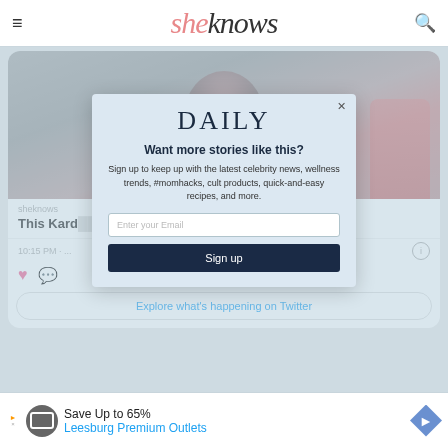sheknows
[Figure (screenshot): Screenshot of a website (SheKnows) showing a Twitter/social media embed with a celebrity photo and article title about a Kardashian, overlaid by a newsletter signup modal titled DAILY]
sheknows
This Kard... Has Been Dubbed a... Your Face
10:15 PM · ...
Explore what's happening on Twitter
Save Up to 65%
Leesburg Premium Outlets